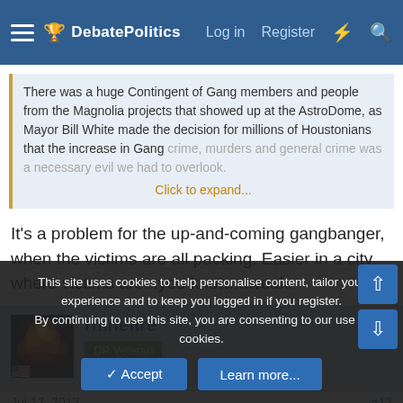DebatePolitics — Log in  Register
There was a huge Contingent of Gang members and people from the Magnolia projects that showed up at the AstroDome, as Mayor Bill White made the decision for millions of Houstonians that the increase in Gang crime, murders and general crime was a necessary evil we had to overlook. Click to expand...
It's a problem for the up-and-coming gangbanger, when the victims are all packing. Easier in a city where victims are...you know....weak.
rhinefire
DP Veteran
Jul 12, 2013
#12
This site uses cookies to help personalise content, tailor your experience and to keep you logged in if you register.
By continuing to use this site, you are consenting to our use of cookies.
Accept  Learn more...